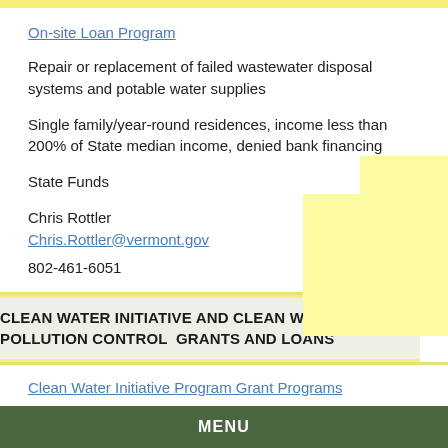On-site Loan Program
Repair or replacement of failed wastewater disposal systems and potable water supplies
Single family/year-round residences, income less than 200% of State median income, denied bank financing
State Funds
Chris Rottler
Chris.Rottler@vermont.gov
802-461-6051
CLEAN WATER INITIATIVE AND CLEAN WATER POLLUTION CONTROL  GRANTS AND LOANS
Clean Water Initiative Program Grant Programs
Grants to restore and protect rivers, streams, lakes, ponds, and wetlands from unregulated nonpoint source runoff and erosion containing nutrient (phosphorus and nitrogen) and sediment pollution.
MENU